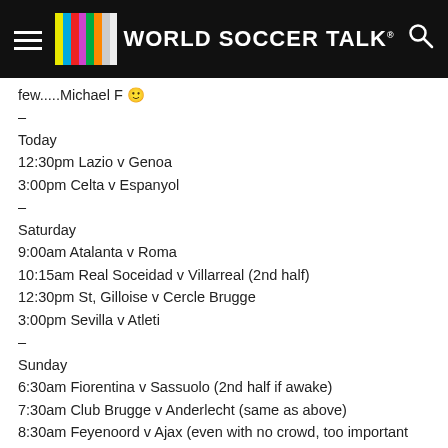World Soccer Talk
few.....Michael F 🙂
–
Today
12:30pm Lazio v Genoa
3:00pm Celta v Espanyol
–
Saturday
9:00am Atalanta v Roma
10:15am Real Soceidad v Villarreal (2nd half)
12:30pm St, Gilloise v Cercle Brugge
3:00pm Sevilla v Atleti
–
Sunday
6:30am Fiorentina v Sassuolo (2nd half if awake)
7:30am Club Brugge v Anderlecht (same as above)
8:30am Feyenoord v Ajax (even with no crowd, too important not to watch)